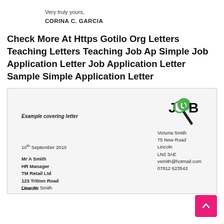Very truly yours,
CORINA C. GARCIA
Check More At Https Gotilo Org Letters Teaching Letters Teaching Job Ap Simple Job Application Letter Job Application Letter Sample Simple Application Letter
[Figure (illustration): Preview of a job application covering letter document with a Job Shop logo in the top right. The letter is addressed from Victoria Smith, 75 New Road, Lincoln, LN2 3AE, vsmith@hotmail.com, 07812 623542. It is dated 10th September 2010 and addressed to Mr A Smith, HR Manager, TM Retail Ltd, 123 Tritton Road, Lincoln, LN3 2RT. The letter begins with 'Dear Mr Smith'.]